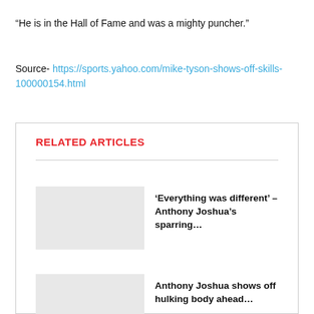“He is in the Hall of Fame and was a mighty puncher.”
Source- https://sports.yahoo.com/mike-tyson-shows-off-skills-100000154.html
RELATED ARTICLES
‘Everything was different’ – Anthony Joshua’s sparring...
Anthony Joshua shows off hulking body ahead...